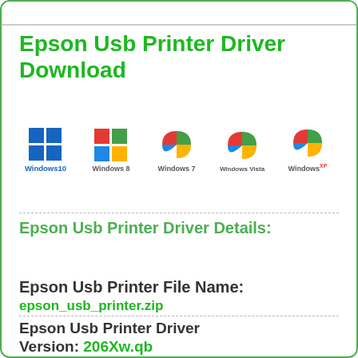Epson Usb Printer Driver Download
[Figure (illustration): Row of five Windows OS logos: Windows 10, Windows 8, Windows 7, Windows Vista, Windows XP]
Epson Usb Printer Driver Details:
Epson Usb Printer File Name:
epson_usb_printer.zip
Epson Usb Printer Driver Version: 206Xw.qb